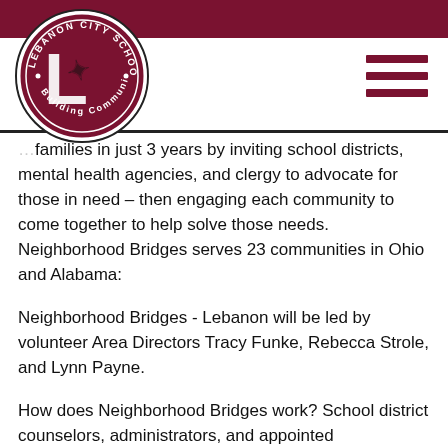[Figure (logo): Lebanon City Schools circular logo with 'L' and warrior mascot, text 'Building Community']
families in just 3 years by inviting school districts, mental health agencies, and clergy to advocate for those in need – then engaging each community to come together to help solve those needs. Neighborhood Bridges serves 23 communities in Ohio and Alabama:
Neighborhood Bridges - Lebanon will be led by volunteer Area Directors Tracy Funke, Rebecca Strole, and Lynn Payne.
How does Neighborhood Bridges work? School district counselors, administrators, and appointed representatives of service organizations will post needs on behalf of students and families. Neighborhood Bridges-Lebanon will work with key stakeholders in the community to engage all resources to help drive direct support and care to our students and neighbors in need. Donations can be dropped off at any of the following